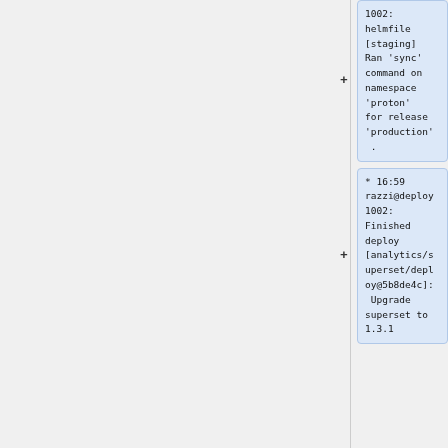1002: helmfile [staging] Ran 'sync' command on namespace 'proton' for release 'production'.
* 16:59 razzi@deploy1002: Finished deploy [analytics/superset/deploy@5b8de4c]: Upgrade superset to 1.3.1